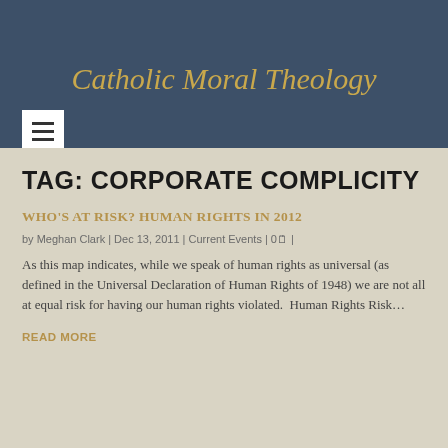Catholic Moral Theology
TAG: CORPORATE COMPLICITY
WHO'S AT RISK? HUMAN RIGHTS IN 2012
by Meghan Clark | Dec 13, 2011 | Current Events | 0 |
As this map indicates, while we speak of human rights as universal (as defined in the Universal Declaration of Human Rights of 1948) we are not all at equal risk for having our human rights violated.  Human Rights Risk…
READ MORE